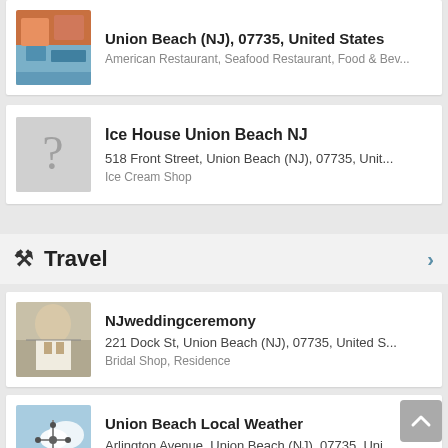Union Beach (NJ), 07735, United States
American Restaurant, Seafood Restaurant, Food & Bev...
Ice House Union Beach NJ
518 Front Street, Union Beach (NJ), 07735, Unit...
Ice Cream Shop
Travel
NJweddingceremony
221 Dock St, Union Beach (NJ), 07735, United S...
Bridal Shop, Residence
Union Beach Local Weather
Arlington Avenue, Union Beach (NJ), 07735, Uni...
Non-Profit Organization, Railway Station